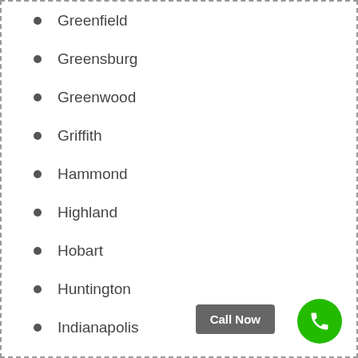Greenfield
Greensburg
Greenwood
Griffith
Hammond
Highland
Hobart
Huntington
Indianapolis
Jasper